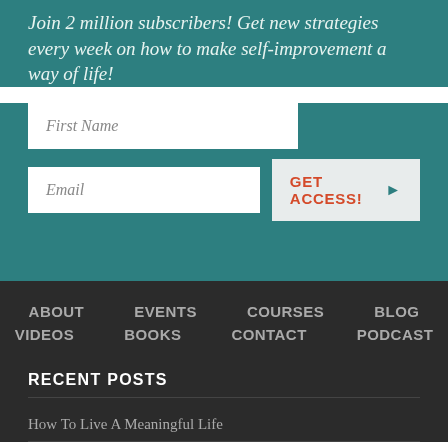Join 2 million subscribers! Get new strategies every week on how to make self-improvement a way of life!
[Figure (screenshot): Email subscription form with First Name and Email input fields and a GET ACCESS! button]
ABOUT   EVENTS   COURSES   BLOG   VIDEOS   BOOKS   CONTACT   PODCAST
RECENT POSTS
How To Live A Meaningful Life